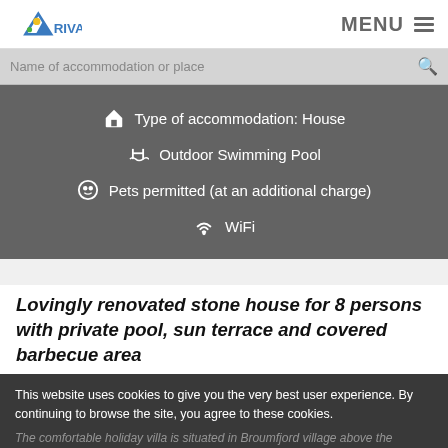RIVA | MENU
Name of accommodation or place
[Figure (infographic): Dark grey box listing amenities: Type of accommodation: House, Outdoor Swimming Pool, Pets permitted (at an additional charge), WiFi]
Lovingly renovated stone house for 8 persons with private pool, sun terrace and covered barbecue area
This website uses cookies to give you the very best user experience. By continuing to browse the site, you agree to these cookies.
The comfortable holiday villa is situated in Broumfjord village above the picturesque valley of the beautiful Broumfjord, famous for its oyster farming. While you enjoy a place and privacy here,